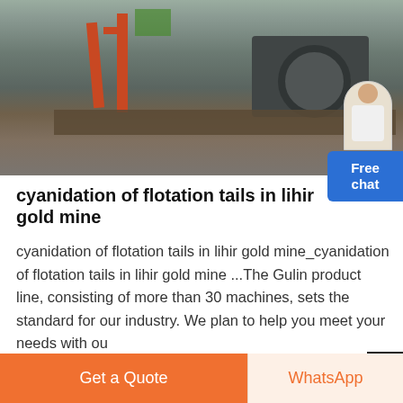[Figure (photo): Industrial mining machinery at a mine site, showing orange metal frames, a large wheel/drum, green netting, and workers in the background near a waterway or dredge platform.]
cyanidation of flotation tails in lihir gold mine
cyanidation of flotation tails in lihir gold mine_cyanidation of flotation tails in lihir gold mine ...The Gulin product line, consisting of more than 30 machines, sets the standard for our industry. We plan to help you meet your needs with ou